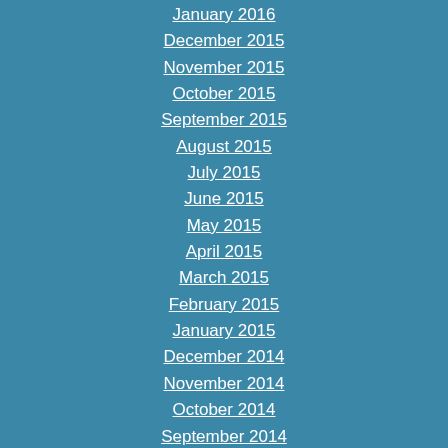January 2016
December 2015
November 2015
October 2015
September 2015
August 2015
July 2015
June 2015
May 2015
April 2015
March 2015
February 2015
January 2015
December 2014
November 2014
October 2014
September 2014
August 2014
July 2014
June 2014
May 2014
April 2014